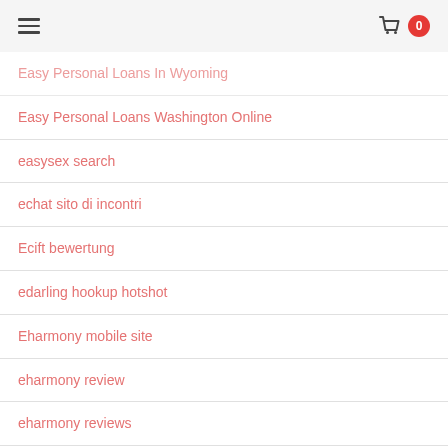≡  🛒 0
Easy Personal Loans In Wyoming
Easy Personal Loans Washington Online
easysex search
echat sito di incontri
Ecift bewertung
edarling hookup hotshot
Eharmony mobile site
eharmony review
eharmony reviews
electronic payday loans
elitesingles review